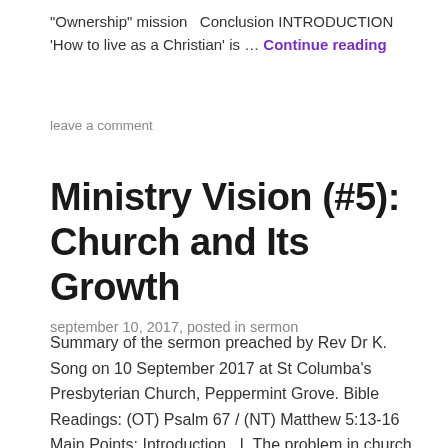“Ownership” mission    Conclusion INTRODUCTION ‘How to live as a Christian’ is … Continue reading
leave a comment
Ministry Vision (#5): Church and Its Growth
september 10, 2017, posted in sermon
Summary of the sermon preached by Rev Dr K. Song on 10 September 2017 at St Columba’s Presbyterian Church, Peppermint Grove. Bible Readings: (OT) Psalm 67 / (NT) Matthew 5:13-16 Main Points: Introduction    I. The problem in church growth    II. A quick and popular solution for church growth    III. The biblical solution to...